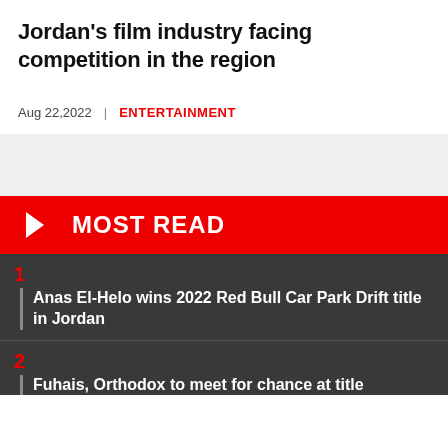Jordan's film industry facing competition in the region
Aug 22,2022  |  ENTERTAINMENT
MOST READ
1
Anas El-Helo wins 2022 Red Bull Car Park Drift title in Jordan
2
Fuhais, Orthodox to meet for chance at title